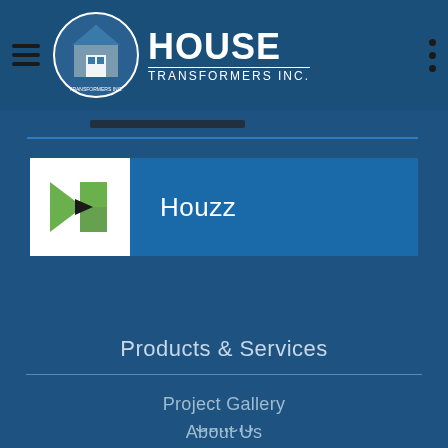[Figure (logo): House Transformers Inc. logo with circular house icon and bold HOUSE text above TRANSFORMERS INC.]
[Figure (logo): Houzz logo — stylized green H with black play arrow on white background, next to the text 'Houzz']
Houzz
Products & Services
Project Gallery
About Us
Siding
Gutters